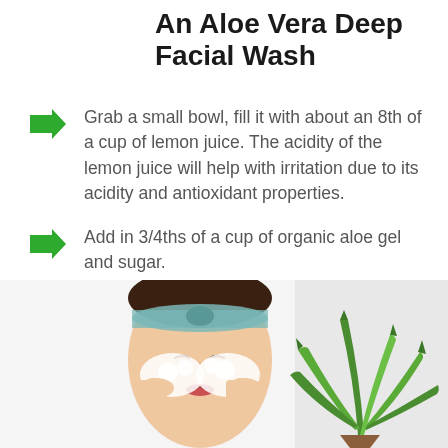An Aloe Vera Deep Facial Wash
Grab a small bowl, fill it with about an 8th of a cup of lemon juice. The acidity of the lemon juice will help with irritation due to its acidity and antioxidant properties.
Add in 3/4ths of a cup of organic aloe gel and sugar.
[Figure (photo): A woman washing her face with foam and an aloe vera plant beside her]